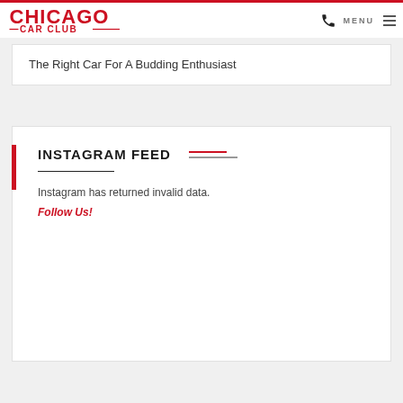CHICAGO CAR CLUB | MENU
The Right Car For A Budding Enthusiast
INSTAGRAM FEED
Instagram has returned invalid data.
Follow Us!